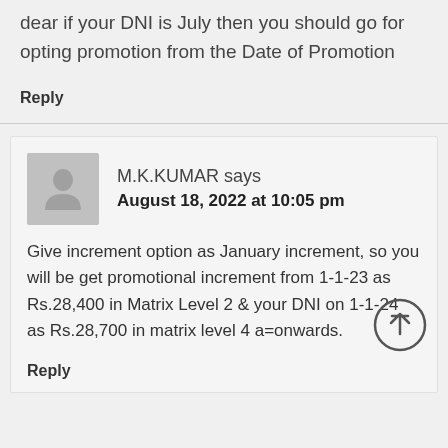dear if your DNI is July then you should go for opting promotion from the Date of Promotion
Reply
M.K.KUMAR says
August 18, 2022 at 10:05 pm
Give increment option as January increment, so you will be get promotional increment from 1-1-23 as Rs.28,400 in Matrix Level 2 & your DNI on 1-1-24 as Rs.28,700 in matrix level 4 a=onwards.
Reply